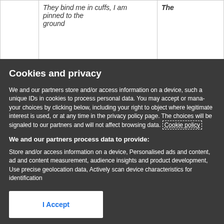|  | They bind me in cuffs, I am pinned to the ground | The |
Cookies and privacy
We and our partners store and/or access information on a device, such a unique IDs in cookies to process personal data. You may accept or manage your choices by clicking below, including your right to object where legitimate interest is used, or at any time in the privacy policy page. These choices will be signaled to our partners and will not affect browsing data. Cookie policy
We and our partners process data to provide:
Store and/or access information on a device, Personalised ads and content, ad and content measurement, audience insights and product development, Use precise geolocation data, Actively scan device characteristics for identification
List of Partners (vendors)
I Accept